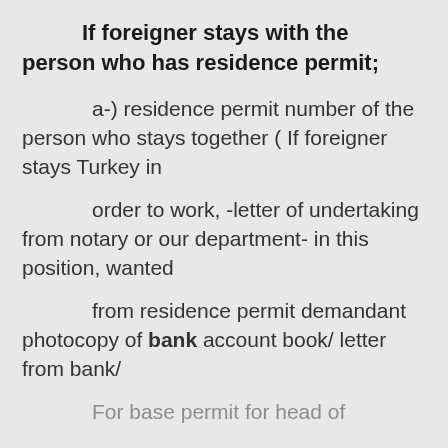If foreigner stays with the person who has residence permit;
a-) residence permit number of the person who stays together ( If foreigner stays Turkey in
order to work, -letter of undertaking from notary or our department- in this position, wanted
from residence permit demandant photocopy of bank account book/ letter from bank/
For base permit for head of...